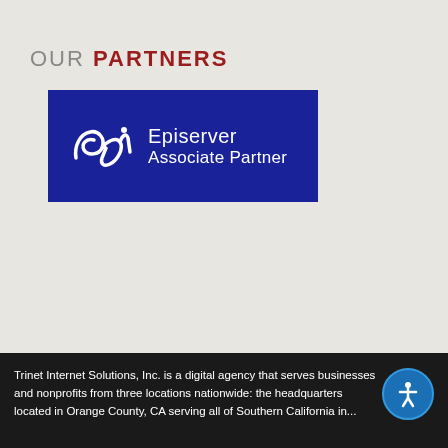OUR PARTNERS
[Figure (logo): Episerver Associate Partner logo — white italic 'epi' script mark on dark navy/blue rectangle background, with 'Episerver' and 'Associate Partner' text in white]
Trinet Internet Solutions, Inc. is a digital agency that serves businesses and nonprofits from three locations nationwide: the headquarters located in Orange County, CA serving all of Southern California in...